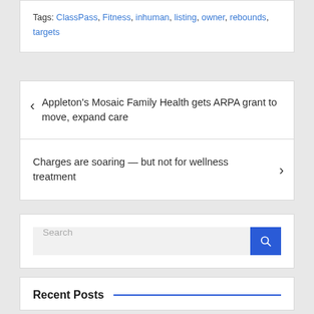Tags: ClassPass, Fitness, inhuman, listing, owner, rebounds, targets
Appleton's Mosaic Family Health gets ARPA grant to move, expand care
Charges are soaring — but not for wellness treatment
Search
Recent Posts